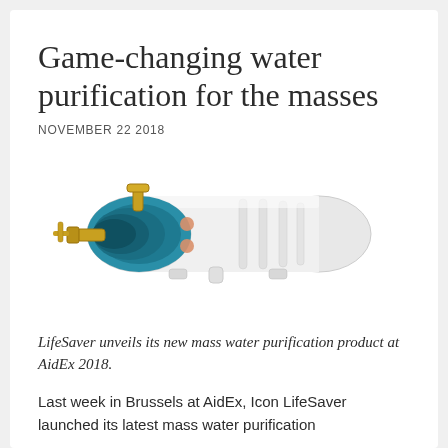Game-changing water purification for the masses
NOVEMBER 22 2018
[Figure (illustration): 3D render of a LifeSaver water purification device — a white cylindrical tube with a teal/blue threaded end cap and gold brass tap/valve fittings on the left side.]
LifeSaver unveils its new mass water purification product at AidEx 2018.
Last week in Brussels at AidEx, Icon LifeSaver launched its latest mass water purification